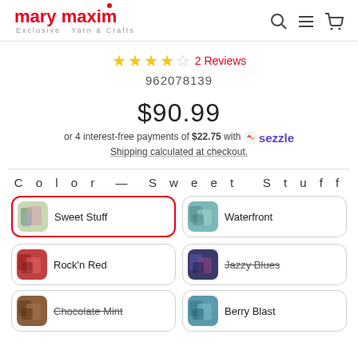mary maxim — Exclusive Yarn & Crafts
★★★★☆ 2 Reviews
962078139
$90.99
or 4 interest-free payments of $22.75 with Sezzle
Shipping calculated at checkout.
Color — Sweet Stuff
Sweet Stuff (selected)
Waterfront
Rock'n Red
Jazzy Blues (unavailable)
Chocolate Mint (unavailable)
Berry Blast